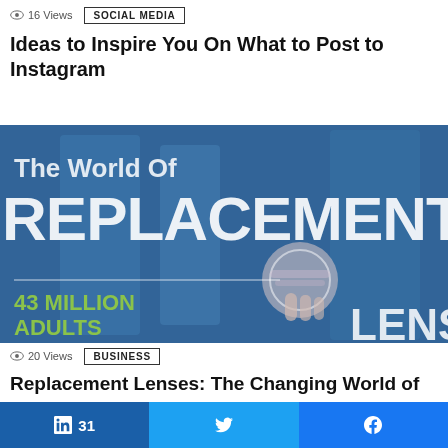[Figure (photo): Top strip of a photo showing a hand holding a smartphone, partially visible]
16 Views   SOCIAL MEDIA
Ideas to Inspire You On What to Post to Instagram
[Figure (infographic): Infographic image reading 'The World Of REPLACEMENT LENSES' with '43 MILLION ADULTS' stat, showing a hand holding a lens, blue background]
20 Views   BUSINESS
Replacement Lenses: The Changing World of
in 31
Twitter share
Facebook share